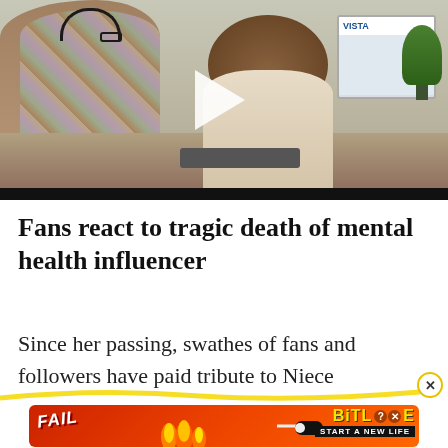[Figure (photo): Video thumbnail showing two people at an office desk — person with headset on left, smiling woman on right near a VISTA-branded monitor and plant. White play button triangle overlay in center.]
Fans react to tragic death of mental health influencer
Since her passing, swathes of fans and followers have paid tribute to Niece
[Figure (other): Yellow swipe annotation overlay with close (X) button]
[Figure (other): BitLife advertisement banner: FAIL text on red background with flames, pill graphic, and BitLife logo with 'START A NEW LIFE' tagline]